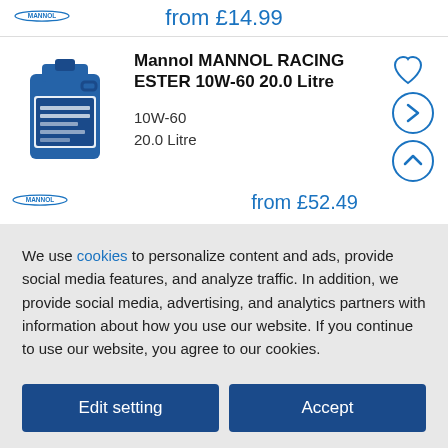from £14.99
[Figure (photo): Blue MANNOL oil canister/jerry can]
Mannol MANNOL RACING ESTER 10W-60 20.0 Litre
10W-60
20.0 Litre
from £52.49
We use cookies to personalize content and ads, provide social media features, and analyze traffic. In addition, we provide social media, advertising, and analytics partners with information about how you use our website. If you continue to use our website, you agree to our cookies.
Edit setting | Accept